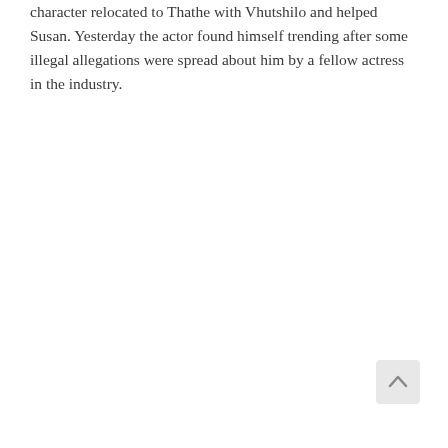character relocated to Thathe with Vhutshilo and helped Susan. Yesterday the actor found himself trending after some illegal allegations were spread about him by a fellow actress in the industry.
[Figure (other): Scroll-to-top button icon in light grey rounded square]